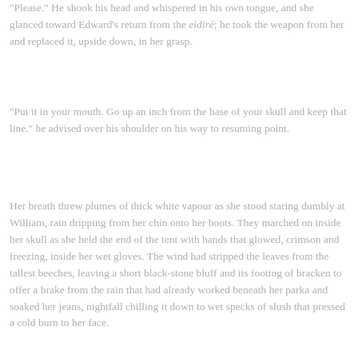"Please." He shook his head and whispered in his own tongue, and she glanced toward Edward's return from the eidiré; he took the weapon from her and replaced it, upside down, in her grasp.
"Put it in your mouth. Go up an inch from the base of your skull and keep that line." he advised over his shoulder on his way to resuming point.
Her breath threw plumes of thick white vapour as she stood staring dumbly at William, rain dripping from her chin onto her boots. They marched on inside her skull as she held the end of the tent with hands that glowed, crimson and freezing, inside her wet gloves. The wind had stripped the leaves from the tallest beeches, leaving a short black-stone bluff and its footing of bracken to offer a brake from the rain that had already worked beneath her parka and soaked her jeans, nightfall chilling it down to wet specks of slush that pressed a cold burn to her face.